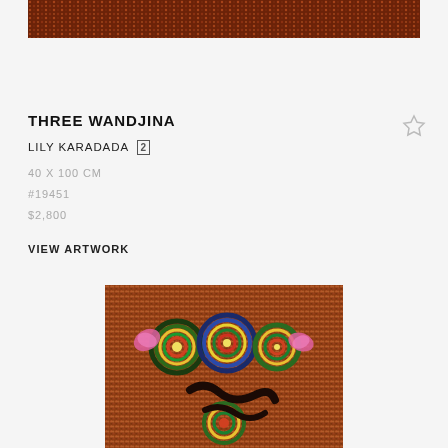[Figure (photo): Horizontal band showing Aboriginal artwork with dark reddish-brown dotted pattern at top of page]
THREE WANDJINA
LILY KARADADA [2]
40 X 100 CM
#19451
$2,800
VIEW ARTWORK
[Figure (photo): Aboriginal dot painting with circular concentric patterns in green, blue, and multicolored rings on a dense reddish-brown dot background, with pink flower shapes]